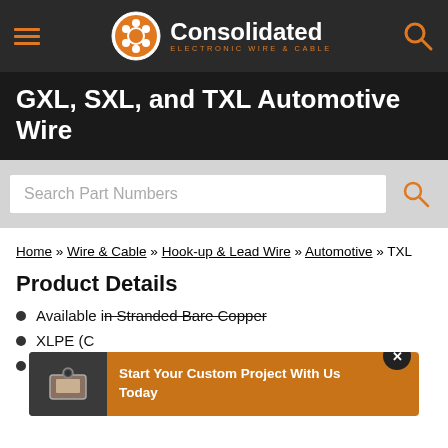Consolidated Electronic Wire & Cable
GXL, SXL, and TXL Automotive Wire
Search Part Numbers
Home » Wire & Cable » Hook-up & Lead Wire » Automotive » TXL
Product Details
Available in Stranded Bare Copper
XLPE (C...)
GXL J1128 Ford ESB-M1L85-B/Chrysler MS-8900
Start Your Custom Project With Us Today